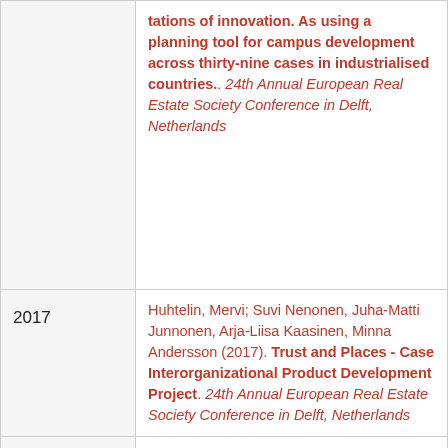| Year | Reference |
| --- | --- |
| 2017 | ...tations of innovation. As using a planning tool for campus development across thirty-nine cases in industrialised countries.. 24th Annual European Real Estate Society Conference in Delft, Netherlands |
| 2017 | Huhtelin, Mervi; Suvi Nenonen, Juha-Matti Junnonen, Arja-Liisa Kaasinen, Minna Andersson (2017). Trust and Places - Case Interorganizational Product Development Project. 24th Annual European Real Estate Society Conference in Delft, Netherlands |
| 2017 | Bazame, Rodrigue; Harun Tanrivermis (2017). Urban Development and Its Implications for Housing Policy: The Case Study of Burkina Faso. 24th Annual European Real Estate Society Conference in Delft, Netherlands |
| 2017 | ... |